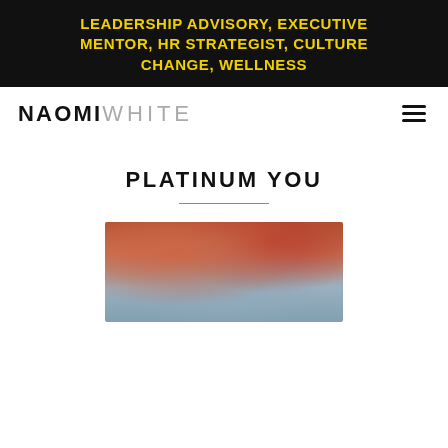LEADERSHIP ADVISORY, EXECUTIVE MENTOR, HR STRATEGIST, CULTURE CHANGE, WELLNESS
NAOMI WHITE
PLATINUM YOU
[Figure (photo): Abstract cloudy sky image with warm reddish-brown tones blending into cool blue-grey tones]